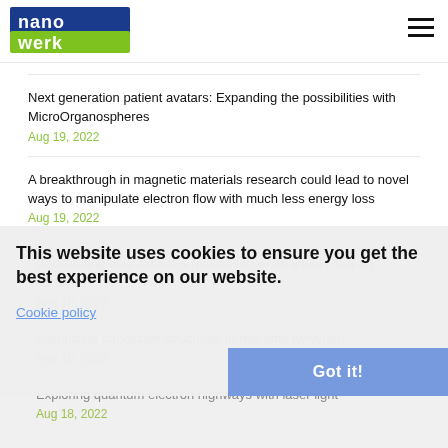nanowerk
Next generation patient avatars: Expanding the possibilities with MicroOrganospheres
Aug 19, 2022
A breakthrough in magnetic materials research could lead to novel ways to manipulate electron flow with much less energy loss
Aug 19, 2022
Considering how friction is maximised when liquids flow on surfaces
Aug 18, 2022
Visualizing nanoscale structures in real time (w/video)
Aug 18, 2022
This website uses cookies to ensure you get the best experience on our website.
Cookie policy
Exploring quantum electron highways with laser light
Aug 18, 2022